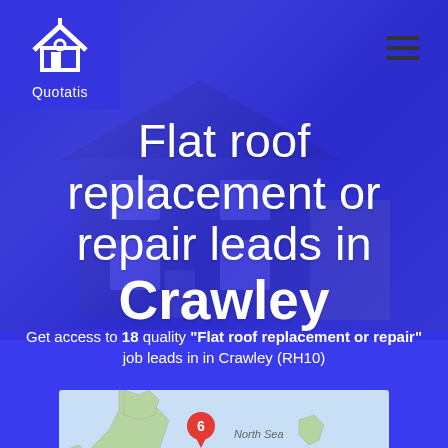[Figure (logo): Quotatis logo: house icon in white on blue background with text 'Quotatis' below]
Flat roof replacement or repair leads in Crawley
Get access to 18 quality "Flat roof replacement or repair" job leads in in Crawley (RH10)
[Figure (map): Map of UK showing location markers with numbers 6, 10, 1 near Crawley area. Labels show North Sea, United Kingdom, Denmark (partial).]